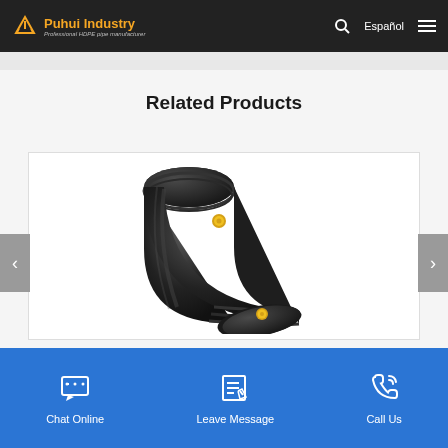Puhui Industry – Professional HDPE pipe manufacturer
Related Products
[Figure (photo): Black HDPE electrofusion 45-degree elbow pipe fitting with yellow indicator pins]
Chat Online | Leave Message | Call Us